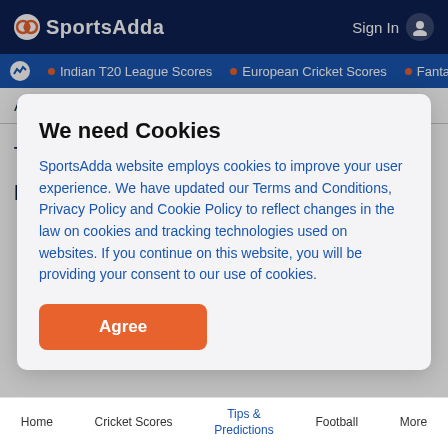SportsAdda | Sign In
Indian T20 League Scores • European Cricket Scores • Fantasy C
| Player | O | M | R | W | Econ |
| --- | --- | --- | --- | --- | --- |
| Abu Hider | 1 | 0 | 14 | 0 | 14.00 |
| Tanvir Islam | 4 | 0 | 25 | 2 | 6.25 |
We need Cookies

SportsAdda website employs cookies to improve your user experience. We have updated our Terms and Conditions, Privacy Policy and Cookie Policy to reflect changes in the law on cookies and tracking technologies used on websites. If you continue on this website, you will be providing your consent to our use of cookies.
Home  Cricket Scores  Tips & Predictions  Football  More